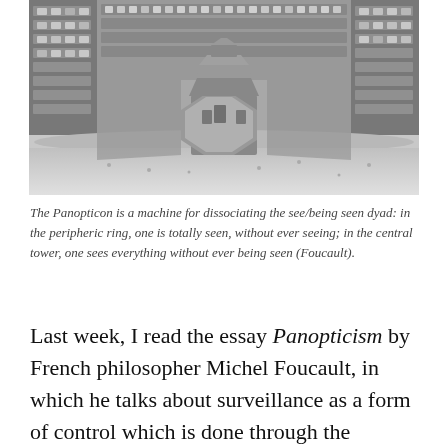[Figure (photo): Black and white photograph of a panopticon prison interior, showing a circular arrangement of cell blocks with a central observation tower in the middle of a large open floor.]
The Panopticon is a machine for dissociating the see/being seen dyad: in the peripheric ring, one is totally seen, without ever seeing; in the central tower, one sees everything without ever being seen (Foucault).
Last week, I read the essay Panopticism by French philosopher Michel Foucault, in which he talks about surveillance as a form of control which is done through the Panoptic machine. He included this essay in his 1975 book